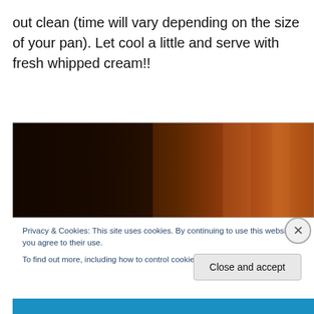out clean (time will vary depending on the size of your pan). Let cool a little and serve with fresh whipped cream!!
[Figure (photo): Close-up photo of a baked good, dark brown surface with warm orange/amber lighting on the right side, suggestive of a brownie or cake in a pan.]
Privacy & Cookies: This site uses cookies. By continuing to use this website, you agree to their use.
To find out more, including how to control cookies, see here: Cookie Policy
Close and accept